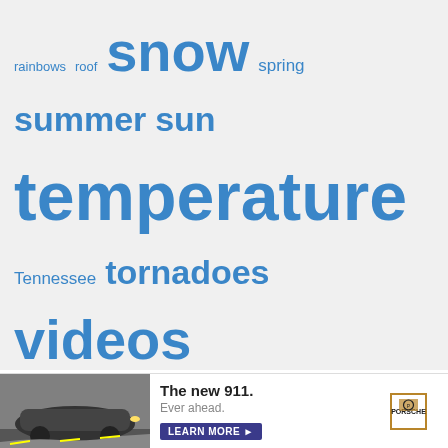rainbows roof snow spring summer sun temperature Tennessee tornadoes videos volcanoes weather humor weather maps weather photos wind winter
Privacy Policy   Disclosure Policy   About   Contact   Sitemap   Advertise
© 2004- 2022 The Fun Times Guide
[Figure (illustration): Advertisement banner for Porsche new 911 with car image, headline 'The new 911. Ever ahead.' and Learn More button, with Porsche logo]